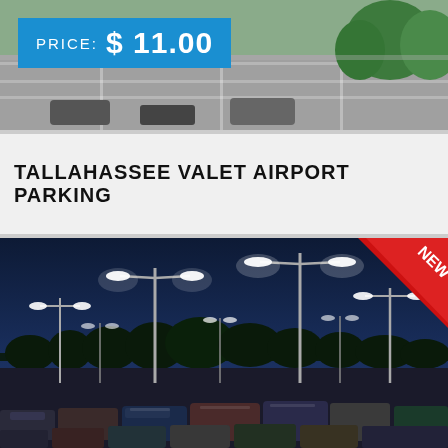[Figure (photo): Aerial or elevated view of a parking lot/road area with trees and parked cars, with a blue price badge overlay showing PRICE: $ 11.00]
PRICE: $ 11.00
TALLAHASSEE VALET AIRPORT PARKING
[Figure (photo): Night-time photo of a large illuminated airport parking lot with many parked cars and tall street lights. A red 'NEW' badge is in the top-right corner.]